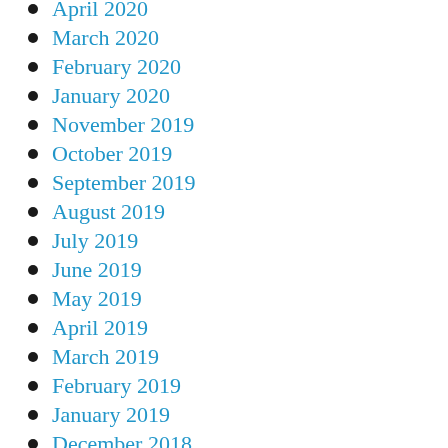April 2020
March 2020
February 2020
January 2020
November 2019
October 2019
September 2019
August 2019
July 2019
June 2019
May 2019
April 2019
March 2019
February 2019
January 2019
December 2018